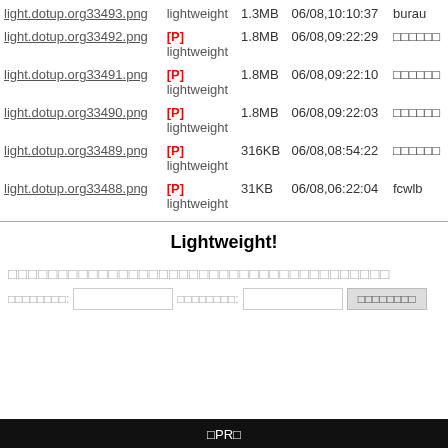| Filename | Type | Size | Date | User |
| --- | --- | --- | --- | --- |
| light.dotup.org33493.png | lightweight | 1.3MB | 06/08,10:10:37 | burau... |
| light.dotup.org33492.png | [P] lightweight | 1.8MB | 06/08,09:22:29 | □□□□□□□ |
| light.dotup.org33491.png | [P] lightweight | 1.8MB | 06/08,09:22:10 | □□□□□□□ |
| light.dotup.org33490.png | [P] lightweight | 1.8MB | 06/08,09:22:03 | □□□□□□□ |
| light.dotup.org33489.png | [P] lightweight | 316KB | 06/08,08:54:22 | □□□□□□□ |
| light.dotup.org33488.png | [P] lightweight | 31KB | 06/08,06:22:04 | fcwlb... |
Lightweight!
□□□□□□□□□□□□□□□□□□□□□□□□□□□□□□□□□□□□
□□□□□□□□: [input] □□□□□□□□: [input] [□□□□□□□□]
□PR□